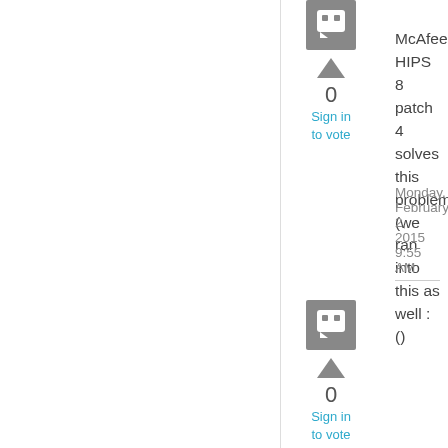[Figure (other): Gray avatar/user icon (comment bubble style) for first commenter]
[Figure (other): Upward triangle vote arrow for first comment]
0
Sign in to vote
McAfee HIPS 8 patch 4 solves this problem (we ran into this as well :()
Monday, February 2, 2015 9:55 AM
[Figure (other): Gray avatar/user icon (comment bubble style) for second commenter]
[Figure (other): Upward triangle vote arrow for second comment]
0
Sign in to vote